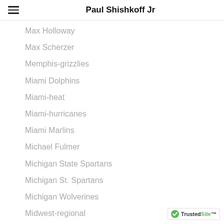Paul Shishkoff Jr
Max Holloway
Max Scherzer
Memphis-grizzlies
Miami Dolphins
Miami-heat
Miami-hurricanes
Miami Marlins
Michael Fulmer
Michigan State Spartans
Michigan St. Spartans
Michigan Wolverines
Midwest-regional
Miguel Gonzalez
Mike Leake
Mike Montgomery
Mike Napoli
Mike Willis
Milwaukee Admirals